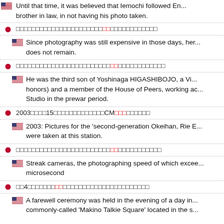Until that time, it was believed that Iemochi followed En... brother in law, in not having his photo taken.
[Japanese text]
Since photography was still expensive in those days, her... does not remain.
[Japanese text]
He was the third son of Yoshinaga HIGASHIBOJO, a Vi... honors) and a member of the House of Peers, working ac... Studio in the prewar period.
2003[Japanese]15[Japanese]CM[Japanese]
2003: Pictures for the 'second-generation Okeihan, Rie E... were taken at this station.
[Japanese text]
Streak cameras, the photographing speed of which excee... microsecond
[Japanese]4[Japanese][red][Japanese]
A farewell ceremony was held in the evening of a day in... commonly-called 'Makino Talkie Square' located in the s...